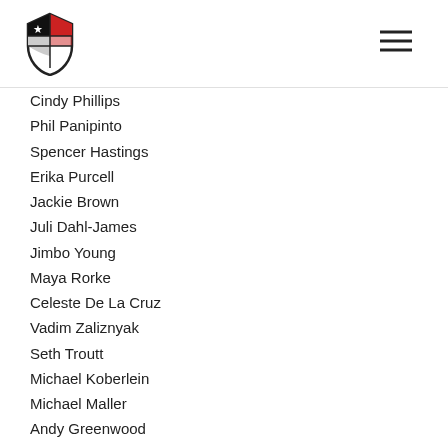Shield logo and navigation menu
Cindy Phillips
Phil Panipinto
Spencer Hastings
Erika Purcell
Jackie Brown
Juli Dahl-James
Jimbo Young
Maya Rorke
Celeste De La Cruz
Vadim Zaliznyak
Seth Troutt
Michael Koberlein
Michael Maller
Andy Greenwood